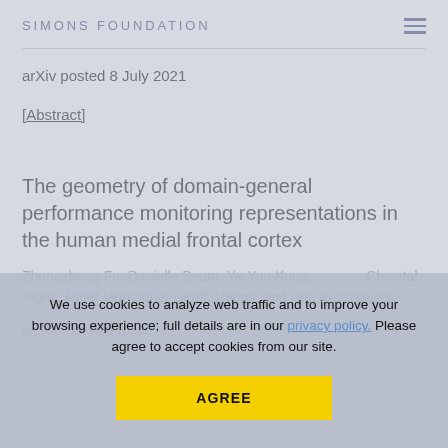SIMONS FOUNDATION
arXiv posted 8 July 2021
[Abstract]
The geometry of domain-general performance monitoring representations in the human medial frontal cortex
Zhongzheng Fu, Danielle Beam, Ya-Yun Kung, Chrystal Xiong, Reed Montague, Geoff Ghipps, and Ueli Rutishauser
bioRxiv posted 8 July 2021
We use cookies to analyze web traffic and to improve your browsing experience; full details are in our privacy policy. Please agree to accept cookies from our site.